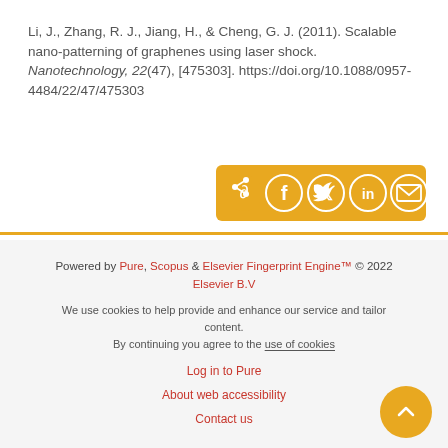Li, J., Zhang, R. J., Jiang, H., & Cheng, G. J. (2011). Scalable nanopatterning of graphenes using laser shock. Nanotechnology, 22(47), [475303]. https://doi.org/10.1088/0957-4484/22/47/475303
[Figure (other): Social sharing bar with icons for share, Facebook, Twitter, LinkedIn, and email on a golden/amber background]
Powered by Pure, Scopus & Elsevier Fingerprint Engine™ © 2022 Elsevier B.V
We use cookies to help provide and enhance our service and tailor content. By continuing you agree to the use of cookies
Log in to Pure
About web accessibility
Contact us